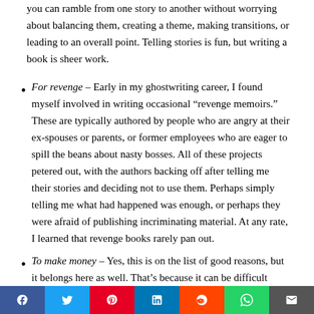you can ramble from one story to another without worrying about balancing them, creating a theme, making transitions, or leading to an overall point. Telling stories is fun, but writing a book is sheer work.
For revenge – Early in my ghostwriting career, I found myself involved in writing occasional “revenge memoirs.” These are typically authored by people who are angry at their ex-spouses or parents, or former employees who are eager to spill the beans about nasty bosses. All of these projects petered out, with the authors backing off after telling me their stories and deciding not to use them. Perhaps simply telling me what had happened was enough, or perhaps they were afraid of publishing incriminating material. At any rate, I learned that revenge books rarely pan out.
To make money – Yes, this is on the list of good reasons, but it belongs here as well. That’s because it can be difficult